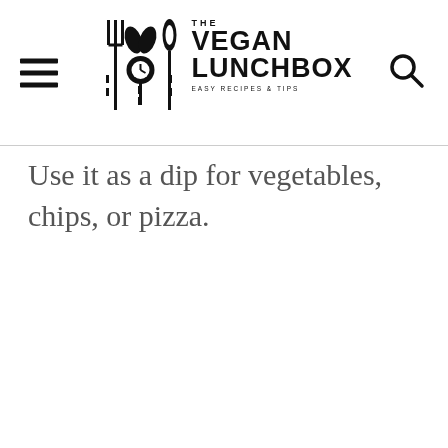THE VEGAN LUNCHBOX — EASY RECIPES & TIPS
Use it as a dip for vegetables, chips, or pizza.